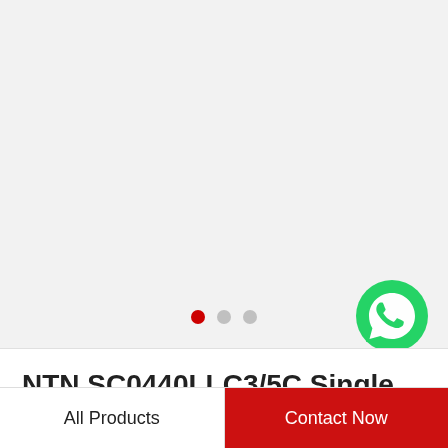[Figure (illustration): WhatsApp Online widget with green phone icon, label reads 'WhatsApp Online']
[Figure (other): Carousel navigation dots: one red (active) and two grey (inactive)]
NTN SC0440LLC3/5C Single Row Ball Bearings
All Products
Contact Now